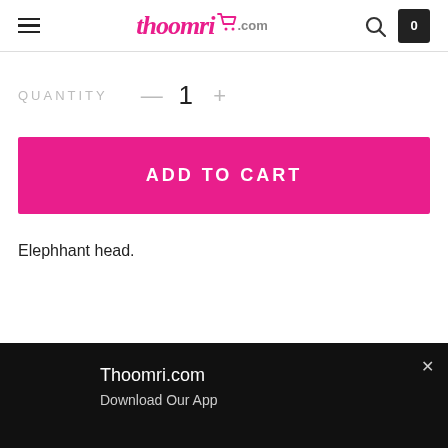Thoomri.com
QUANTITY — 1
ADD TO CART
Elephhant head.
Thoomri.com
Download Our App